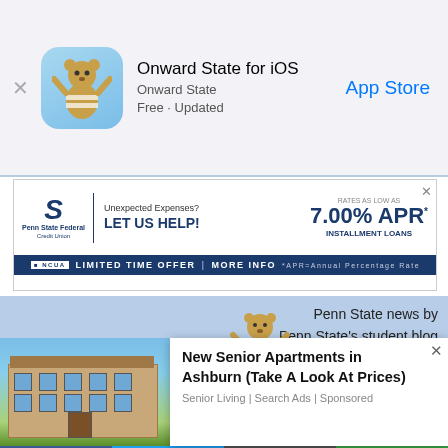[Figure (screenshot): App Store banner for Onward State iOS app showing app icon with Nittany Lion mascot, app name, and App Store button]
[Figure (screenshot): Penn State Federal Credit Union advertisement: Unexpected Expenses? LET US HELP! 7.00% APR INSTALLMENT LOANS - LIMITED TIME OFFER | MORE INFO]
[Figure (screenshot): Onward State website header with Nittany Lion mascot, Penn State news by Penn State's student blog tagline, Twitter follow us button, and navigation bar with News, Podcast, Tips, About, Tickets]
News
Penn State Library Getting
[Figure (screenshot): Popup advertisement: New Senior Apartments in Ashburn (Take A Look At Prices) - Senior Living | Search Ads | Sponsored, shown over building photo]
[Figure (screenshot): Social share bar at bottom with Facebook, Twitter, Email, and SMS buttons]